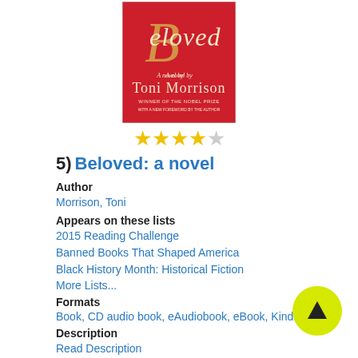[Figure (photo): Book cover of Beloved: a novel by Toni Morrison. Red background with gold decorative script title 'Beloved' and author name 'Toni Morrison'. Text indicates winner of the Nobel Prize.]
[Figure (other): Star rating: 4 out of 5 stars — four filled yellow stars and one empty/outline star]
5) Beloved: a novel
Author
Morrison, Toni
Appears on these lists
2015 Reading Challenge
Banned Books That Shaped America
Black History Month: Historical Fiction
More Lists...
Formats
Book, CD audio book, eAudiobook, eBook, Kindle
Description
Read Description